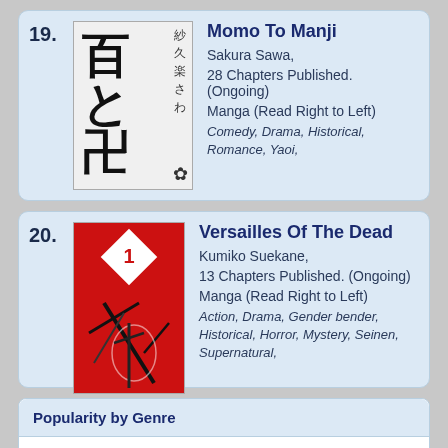19. Momo To Manji — Sakura Sawa, — 28 Chapters Published. (Ongoing) — Manga (Read Right to Left) — Comedy, Drama, Historical, Romance, Yaoi,
20. Versailles Of The Dead — Kumiko Suekane, — 13 Chapters Published. (Ongoing) — Manga (Read Right to Left) — Action, Drama, Gender bender, Historical, Horror, Mystery, Seinen, Supernatural,
Popularity by Genre
All